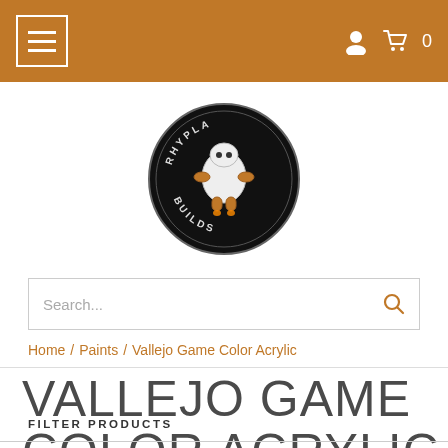Navigation header with hamburger menu, user icon, cart icon, and cart count 0
[Figure (logo): RhyPla Builds circular logo: dark background with cartoon robot/character figure, text 'RHYPLA BUILDS' around the circle]
Search...
Home / Paints / Vallejo Game Color Acrylic
VALLEJO GAME COLOR ACRYLIC
FILTER PRODUCTS